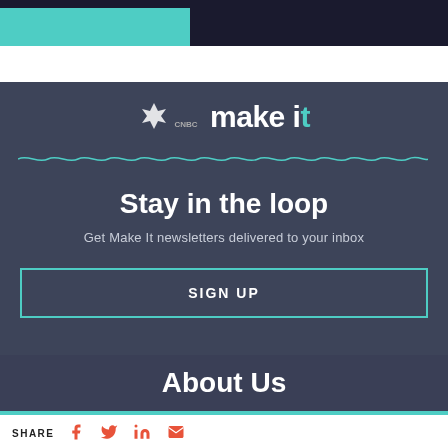[Figure (logo): CNBC Make It logo with teal dot on 'i']
Stay in the loop
Get Make It newsletters delivered to your inbox
SIGN UP
About Us
SHARE